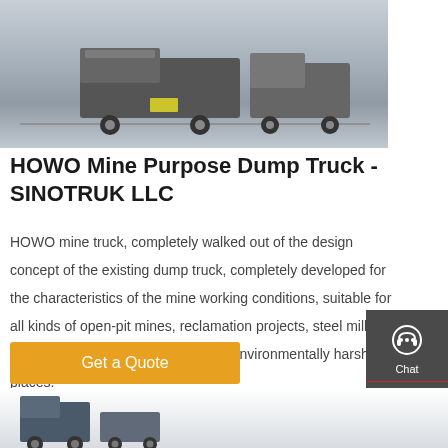[Figure (photo): Photo of HOWO dump trucks parked in a lot, front/side view, multiple trucks visible]
HOWO Mine Purpose Dump Truck - SINOTRUK LLC
HOWO mine truck, completely walked out of the design concept of the existing dump truck, completely developed for the characteristics of the mine working conditions, suitable for all kinds of open-pit mines, reclamation projects, steel mills, hydropower sites, wharfs and other environmentally harsh places.
[Figure (screenshot): Sidebar with Chat, Email, Contact, and Top navigation icons on dark grey background]
[Figure (photo): Partial photo at bottom of page showing another HOWO truck]
Get a Quote